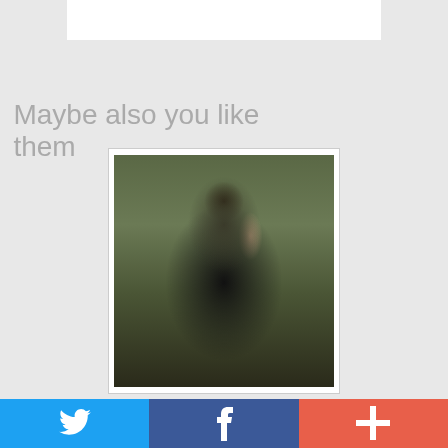[Figure (other): White rectangular box at top, partial view of content above]
Maybe also you like them
[Figure (photo): Photo of a bearded man in a black t-shirt standing in a dilapidated room with deteriorating walls and a wooden door frame behind him]
Twitter share | Facebook share | Add/Plus button